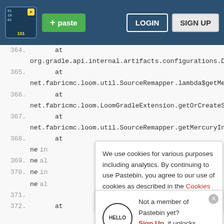Pastebin navigation bar with logo, + paste button, LOGIN and SIGN UP buttons
364.    at
    org.gradle.api.internal.artifacts.configurations.Det
365.    at
    net.fabricmc.loom.util.SourceRemapper.lambda$getMerc
366.    at
    net.fabricmc.loom.LoomGradleExtension.getOrCreateSrc
367.    at
    net.fabricmc.loom.util.SourceRemapper.getMercuryInst
368.    at
    ne  ...in
369.    ne  ...al
370.    ne  ...in
371.    ne  ...al
372.    at
We use cookies for various purposes including analytics. By continuing to use Pastebin, you agree to our use of cookies as described in the Cookies Policy.   OK, I Understand
Not a member of Pastebin yet? Sign Up, it unlocks many cool features!